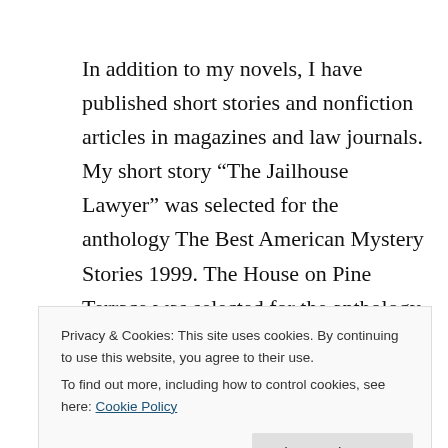In addition to my novels, I have published short stories and nonfiction articles in magazines and law journals. My short story “The Jailhouse Lawyer” was selected for the anthology The Best American Mystery Stories 1999. The House on Pine Terrace was selected for the anthology The Best American Mystery Stories 2010.
From 1996 to 2009 I was the president and chairman of the Board of Chess for Success. I am still heavily
Privacy & Cookies: This site uses cookies. By continuing to use this website, you agree to their use.
To find out more, including how to control cookies, see here: Cookie Policy
I schools . From 2007 to the present, I have been on